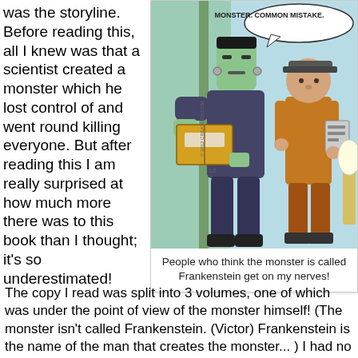was the storyline. Before reading this, all I knew was that a scientist created a monster which he lost control of and went round killing everyone. But after reading this I am really surprised at how much more there was to this book than I thought; it's so underestimated!
[Figure (illustration): Comic strip showing Frankenstein's monster at the door receiving a package from a delivery man. Speech bubble reads: 'MONSTER. COMMON MISTAKE.' Copyright 2012 Creators.com, dated 1/2.]
People who think the monster is called Frankenstein get on my nerves!
The copy I read was split into 3 volumes, one of which was under the point of view of the monster himself! (The monster isn't called Frankenstein. (Victor) Frankenstein is the name of the man that creates the monster... ) I had no idea this was even in the book so it was really interesting to hear his